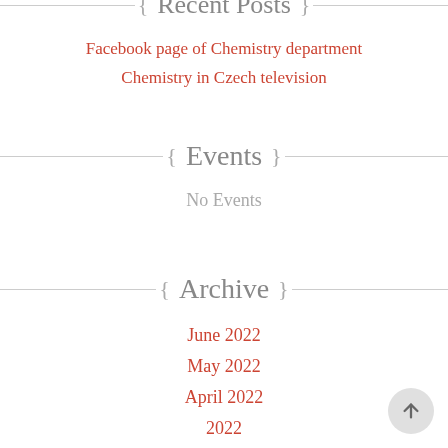{ Recent Posts }
Facebook page of Chemistry department
Chemistry in Czech television
{ Events }
No Events
{ Archive }
June 2022
May 2022
April 2022
2022
2021